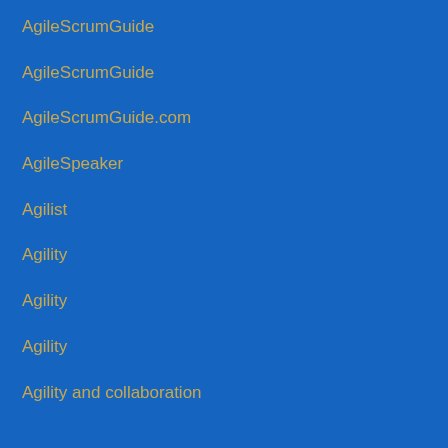AgileScrumGuide
AgileScrumGuide
AgileScrumGuide.com
AgileSpeaker
Agilist
Agility
Agility
Agility
Agility and collaboration